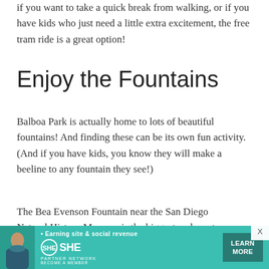if you want to take a quick break from walking, or if you have kids who just need a little extra excitement, the free tram ride is a great option!
Enjoy the Fountains
Balboa Park is actually home to lots of beautiful fountains! And finding these can be its own fun activity. (And if you have kids, you know they will make a beeline to any fountain they see!)
The Bea Evenson Fountain near the San Diego Natural History Museum is the biggest and most impressive
[Figure (infographic): Advertisement banner for SHE Media Partner Network. Teal background with a woman's photo, text 'Earning site & social revenue', SHE logo with circle emblem, PARTNER NETWORK, BECOME A MEMBER text, and a dark teal LEARN MORE button. An X close button appears in top right corner of the ad area.]